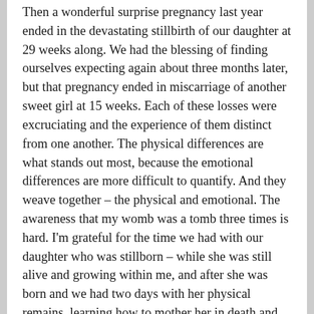Then a wonderful surprise pregnancy last year ended in the devastating stillbirth of our daughter at 29 weeks along. We had the blessing of finding ourselves expecting again about three months later, but that pregnancy ended in miscarriage of another sweet girl at 15 weeks. Each of these losses were excruciating and the experience of them distinct from one another. The physical differences are what stands out most, because the emotional differences are more difficult to quantify. And they weave together – the physical and emotional. The awareness that my womb was a tomb three times is hard. I'm grateful for the time we had with our daughter who was stillborn – while she was still alive and growing within me, and after she was born and we had two days with her physical remains, learning how to mother her in death and share her with her siblings. Not having the